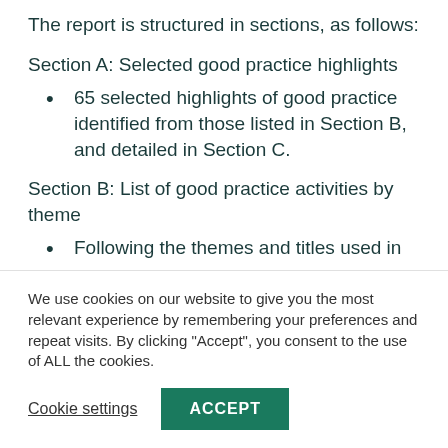The report is structured in sections, as follows:
Section A: Selected good practice highlights
65 selected highlights of good practice identified from those listed in Section B, and detailed in Section C.
Section B: List of good practice activities by theme
Following the themes and titles used in
We use cookies on our website to give you the most relevant experience by remembering your preferences and repeat visits. By clicking “Accept”, you consent to the use of ALL the cookies.